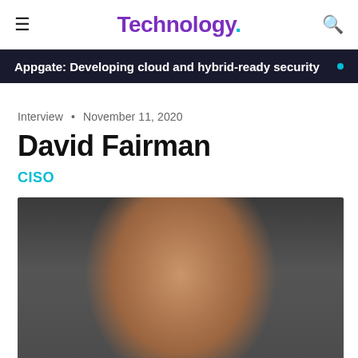Technology.
Appgate: Developing cloud and hybrid-ready security
Interview • November 11, 2020
David Fairman
CISO
[Figure (photo): Portrait photo of David Fairman, a bald man, against a dark background]